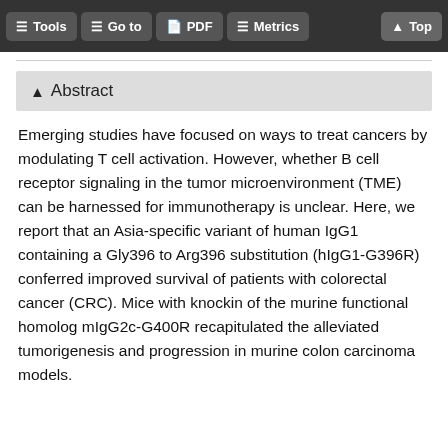Tools  Go to  PDF  Metrics  Top
Abstract
Emerging studies have focused on ways to treat cancers by modulating T cell activation. However, whether B cell receptor signaling in the tumor microenvironment (TME) can be harnessed for immunotherapy is unclear. Here, we report that an Asia-specific variant of human IgG1 containing a Gly396 to Arg396 substitution (hIgG1-G396R) conferred improved survival of patients with colorectal cancer (CRC). Mice with knockin of the murine functional homolog mIgG2c-G400R recapitulated the alleviated tumorigenesis and progression in murine colon carcinoma models.